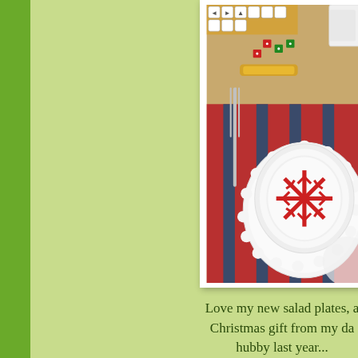[Figure (photo): A Christmas table setting with white scalloped salad plates stacked, featuring a red glittery snowflake decoration on top plate. Set on a red and dark blue striped placemat. A fork is visible on the left, a gold candy wrapper, red and green dice scattered on a tan tablecloth, a white mug in the upper right, and what appears to be a wrapped gift with letter tiles in the upper left.]
Love my new salad plates, a Christmas gift from my darling hubby last year...